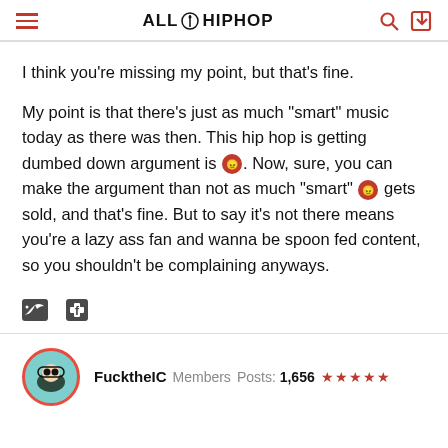ALLHIPHOP
I think you're missing my point, but that's fine.
My point is that there's just as much "smart" music today as there was then. This hip hop is getting dumbed down argument is [angry emoji]. Now, sure, you can make the argument than not as much "smart" [angry emoji] gets sold, and that's fine. But to say it's not there means you're a lazy ass fan and wanna be spoon fed content, so you shouldn't be complaining anyways.
[Figure (other): Twitter and Facebook share icons]
FucktheIC   Members   Posts: 1,656   ★★★★★